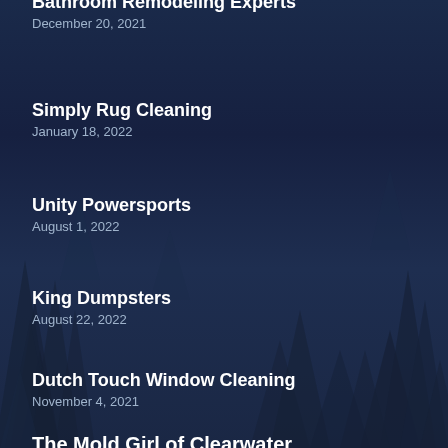Bathroom Remodeling Experts
December 20, 2021
Simply Rug Cleaning
January 18, 2022
Unity Powersports
August 1, 2022
King Dumpsters
August 22, 2022
Dutch Touch Window Cleaning
November 4, 2021
The Mold Girl of Clearwater